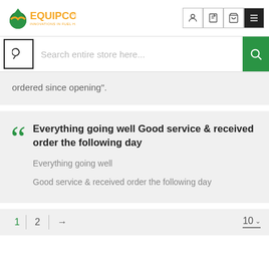EQUIPCO — Innovations in Fuel Handling
ordered since opening".
Everything going well Good service & received order the following day
Everything going well
Good service & received order the following day
1  2  →    10